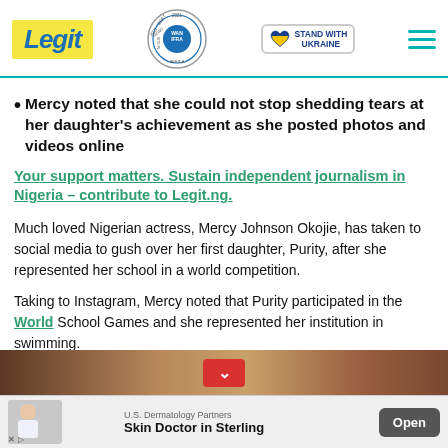Legit — Best News Website in Africa 2021 WAN-IFRA — Stand with Ukraine
Mercy noted that she could not stop shedding tears at her daughter's achievement as she posted photos and videos online
Your support matters. Sustain independent journalism in Nigeria – contribute to Legit.ng.
Much loved Nigerian actress, Mercy Johnson Okojie, has taken to social media to gush over her first daughter, Purity, after she represented her school in a world competition.
Taking to Instagram, Mercy noted that Purity participated in the World School Games and she represented her institution in swimming.
[Figure (photo): Bottom strip showing a person/photo, partially visible, with a red down-arrow button overlay]
[Figure (infographic): Advertisement banner: U.S. Dermatology Partners — Skin Doctor in Sterling — Open button]